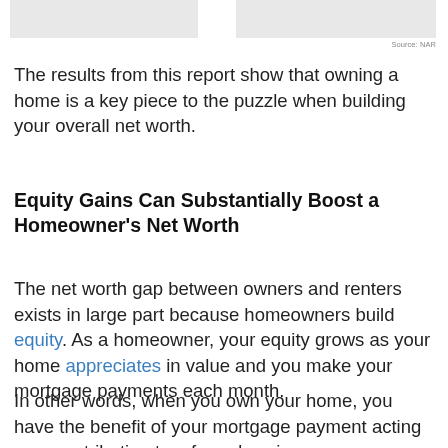[Figure (other): Two cropped image panels side by side at top of page (partial chart images cut off)]
Source: NAR
The results from this report show that owning a home is a key piece to the puzzle when building your overall net worth.
Equity Gains Can Substantially Boost a Homeowner's Net Worth
The net worth gap between owners and renters exists in large part because homeowners build equity. As a homeowner, your equity grows as your home appreciates in value and you make your mortgage payments each month.
In other words, when you own your home, you have the benefit of your mortgage payment acting as a contribution to a forced savings